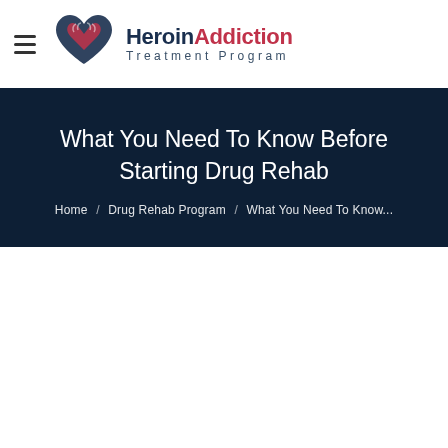[Figure (logo): HeroinAddiction Treatment Program logo with stylized heart/hands icon]
What You Need To Know Before Starting Drug Rehab
Home / Drug Rehab Program / What You Need To Know...